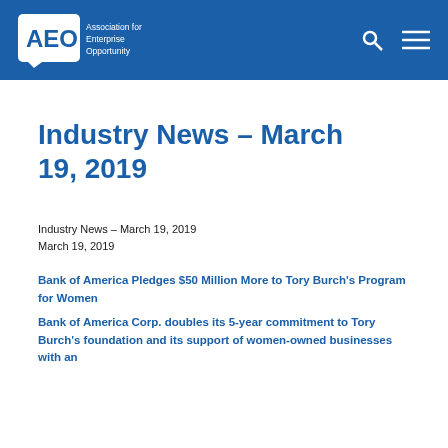[Figure (logo): AEO – Association for Enterprise Opportunity logo in white on blue background, with search and menu icons on the right]
Industry News – March 19, 2019
Industry News – March 19, 2019
March 19, 2019
Bank of America Pledges $50 Million More to Tory Burch's Program for Women
Bank of America Corp. doubles its 5-year commitment to Tory Burch's foundation and its support of women-owned businesses with an